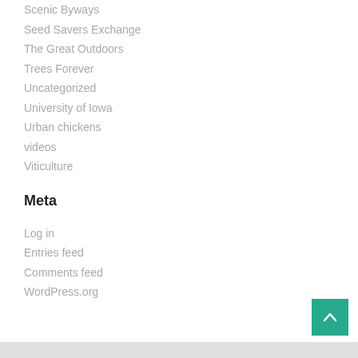Scenic Byways
Seed Savers Exchange
The Great Outdoors
Trees Forever
Uncategorized
University of Iowa
Urban chickens
videos
Viticulture
Meta
Log in
Entries feed
Comments feed
WordPress.org